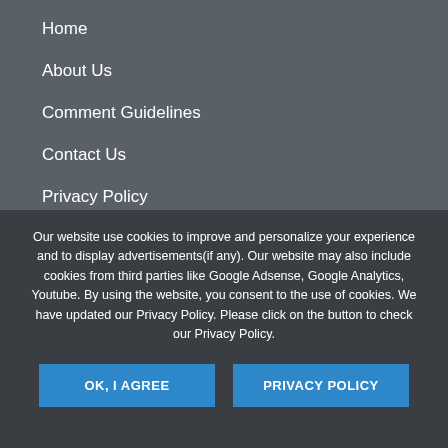Home
About Us
Comment Guidelines
Contact Us
Privacy Policy
Our website use cookies to improve and personalize your experience and to display advertisements(if any). Our website may also include cookies from third parties like Google Adsense, Google Analytics, Youtube. By using the website, you consent to the use of cookies. We have updated our Privacy Policy. Please click on the button to check our Privacy Policy.
OK, I AGREE
PRIVACY POLICY